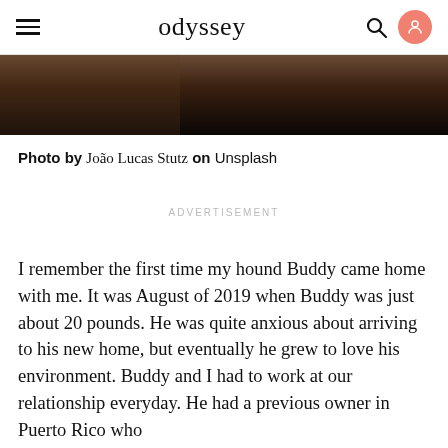odyssey
[Figure (photo): Dark brown/black photo strip — bottom portion of an image, likely a dog or interior scene, very dark tones]
Photo by João Lucas Stutz on Unsplash
ADVERTISEMENT
I remember the first time my hound Buddy came home with me. It was August of 2019 when Buddy was just about 20 pounds. He was quite anxious about arriving to his new home, but eventually he grew to love his environment. Buddy and I had to work at our relationship everyday. He had a previous owner in Puerto Rico who